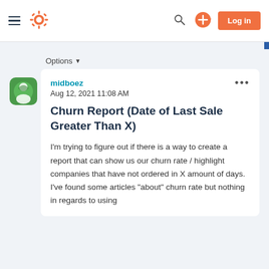HubSpot Community navigation bar with hamburger menu, HubSpot logo, search icon, plus button, and Log in button
Options
midboez
Aug 12, 2021 11:08 AM
Churn Report (Date of Last Sale Greater Than X)
I'm trying to figure out if there is a way to create a report that can show us our churn rate / highlight companies that have not ordered in X amount of days. I've found some articles "about" churn rate but nothing in regards to using